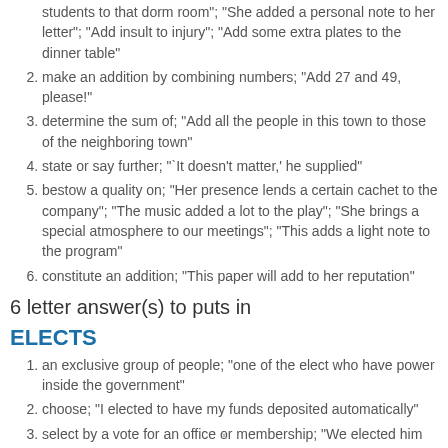students to that dorm room"; "She added a personal note to her letter"; "Add insult to injury"; "Add some extra plates to the dinner table"
make an addition by combining numbers; "Add 27 and 49, please!"
determine the sum of; "Add all the people in this town to those of the neighboring town"
state or say further; "`It doesn't matter,' he supplied"
bestow a quality on; "Her presence lends a certain cachet to the company"; "The music added a lot to the play"; "She brings a special atmosphere to our meetings"; "This adds a light note to the program"
constitute an addition; "This paper will add to her reputation"
6 letter answer(s) to puts in
ELECTS
an exclusive group of people; "one of the elect who have power inside the government"
choose; "I elected to have my funds deposited automatically"
select by a vote for an office or membership; "We elected him chairman of the committee"
x